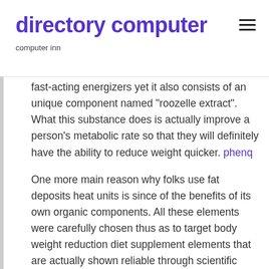directory computer
computer inn
fast-acting energizers yet it also consists of an unique component named “roozelle extract”. What this substance does is actually improve a person’s metabolic rate so that they will definitely have the ability to reduce weight quicker. phenq
One more main reason why folks use fat deposits heat units is since of the benefits of its own organic components. All these elements were carefully chosen thus as to target body weight reduction diet supplement elements that are actually shown reliable through scientific researches.